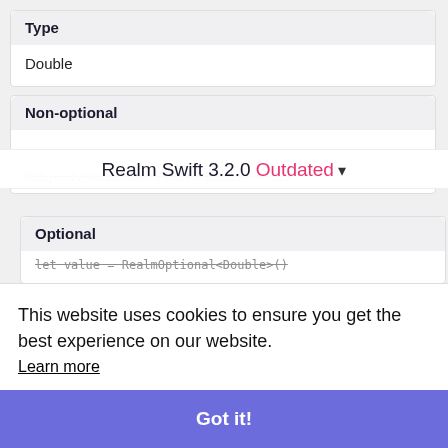Type
Double
Non-optional
Realm Swift 3.2.0  Outdated ▾
@objc dynamic var value: Double = 0.0
Optional
let value = RealmOptional<Double>()
This website uses cookies to ensure you get the best experience on our website.
Learn more
Got it!